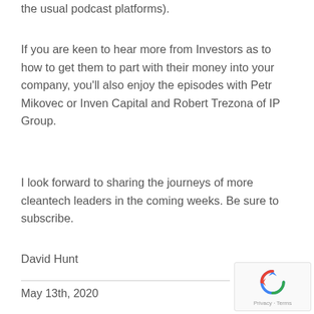the usual podcast platforms).
If you are keen to hear more from Investors as to how to get them to part with their money into your company, you'll also enjoy the episodes with Petr Mikovec or Inven Capital and Robert Trezona of IP Group.
I look forward to sharing the journeys of more cleantech leaders in the coming weeks. Be sure to subscribe.
David Hunt
May 13th, 2020